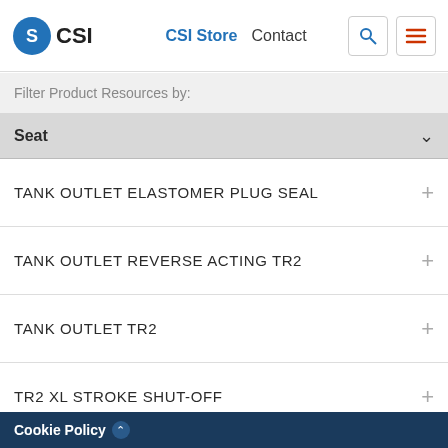CSI | CSI Store  Contact
Filter Product Resources by:
Seat
TANK OUTLET ELASTOMER PLUG SEAL
TANK OUTLET REVERSE ACTING TR2
TANK OUTLET TR2
TR2 XL STROKE SHUT-OFF
SSV SERIES Y-BODY
ELASTOMER PLUG SEAL TANGENTIAL CHANGE
Cookie Policy